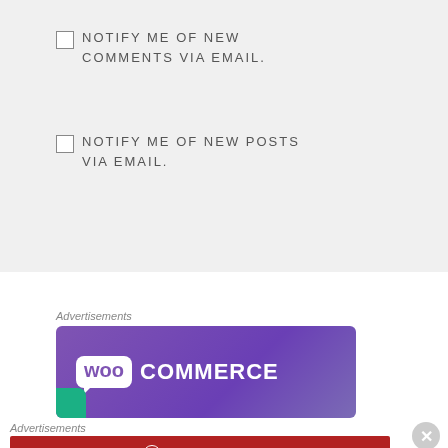NOTIFY ME OF NEW COMMENTS VIA EMAIL.
NOTIFY ME OF NEW POSTS VIA EMAIL.
Advertisements
[Figure (logo): WooCommerce logo on purple background banner]
Advertisements
[Figure (logo): Longreads banner: The best stories on the web — ours, and everyone else's.]